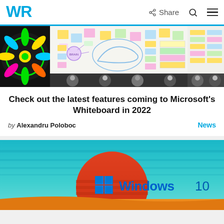WR | Share | Search | Menu
[Figure (screenshot): Microsoft Whiteboard screenshot showing a colorful mandala on the left and a digital whiteboard with sticky notes, mind maps, and a shoe sketch, with video call participants at the bottom]
Check out the latest features coming to Microsoft’s Whiteboard in 2022
by Alexandru Poloboc   News
[Figure (illustration): Windows 10 logo illustration with teal gradient sky background, red/orange sun circle, orange desert landscape at the bottom, and the blue Windows logo with 'Windows 10' text]